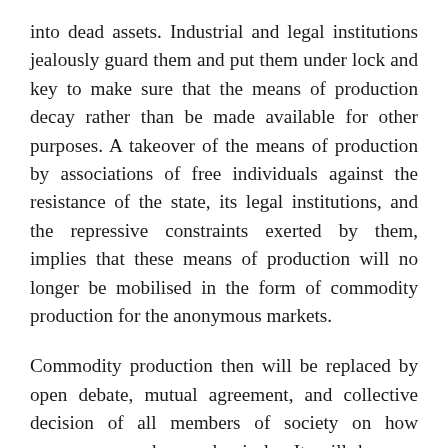into dead assets. Industrial and legal institutions jealously guard them and put them under lock and key to make sure that the means of production decay rather than be made available for other purposes. A takeover of the means of production by associations of free individuals against the resistance of the state, its legal institutions, and the repressive constraints exerted by them, implies that these means of production will no longer be mobilised in the form of commodity production for the anonymous markets.
Commodity production then will be replaced by open debate, mutual agreement, and collective decision of all members of society on how resources can be used wisely. It will become possible to establish the institutional identity of producers and consumers, unheard-of and unthinkable under the dictate of the